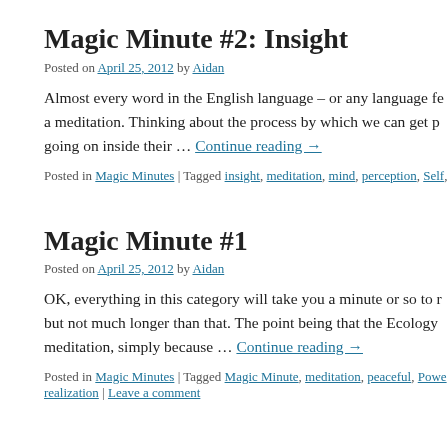Magic Minute #2: Insight
Posted on April 25, 2012 by Aidan
Almost every word in the English language – or any language fe… a meditation. Thinking about the process by which we can get p… going on inside their … Continue reading →
Posted in Magic Minutes | Tagged insight, meditation, mind, perception, Self,
Magic Minute #1
Posted on April 25, 2012 by Aidan
OK, everything in this category will take you a minute or so to r… but not much longer than that. The point being that the Ecology… meditation, simply because … Continue reading →
Posted in Magic Minutes | Tagged Magic Minute, meditation, peaceful, Powe… realization | Leave a comment